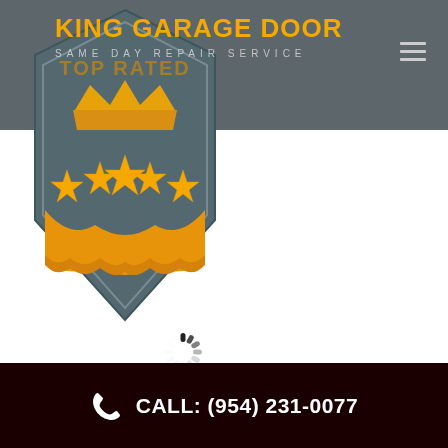[Figure (logo): King Garage Door logo with badge/award icon featuring orange stars on a dark teal hexagonal shield background, with text TOP RATED at top]
KING GARAGE DOOR
SAME DAY REPAIR SERVICE
[Figure (illustration): Loading spinner / throbber icon in gray and dark segments arranged in a circle]
CALL: (954) 231-0077